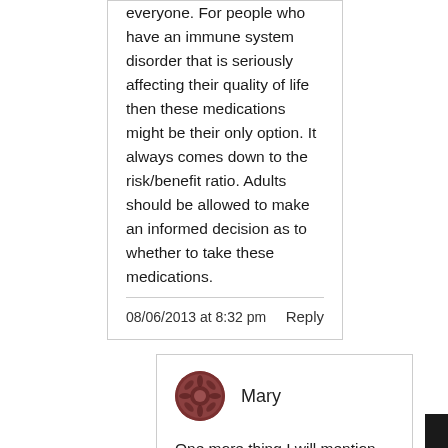everyone. For people who have an immune system disorder that is seriously affecting their quality of life then these medications might be their only option. It always comes down to the risk/benefit ratio. Adults should be allowed to make an informed decision as to whether to take these medications.
08/06/2013 at 8:32 pm
Reply
Mary
One more thing I will mention. Your information that says that these